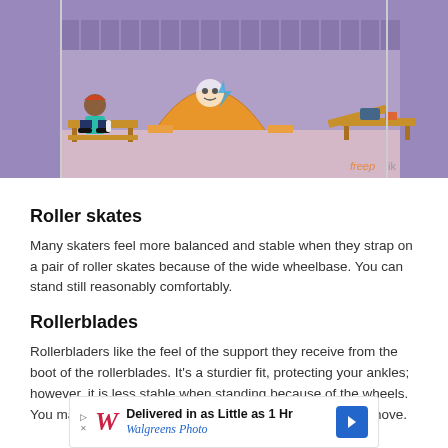[Figure (illustration): Cartoon illustration of a skate park with ramps, benches, a skater sitting on a bench, and skating equipment. Purple/orange color scheme.]
Roller skates
Many skaters feel more balanced and stable when they strap on a pair of roller skates because of the wide wheelbase. You can stand still reasonably comfortably.
Rollerblades
Rollerbladers like the feel of the support they receive from the boot of the rollerblades. It’s a sturdier fit, protecting your ankles; however, it is less stable when standing because of the wheels. You maintain a better balancing act when you are on the move.
[Figure (other): Walgreens Photo advertisement banner: Delivered in as Little as 1 Hr, Walgreens Photo, with logo and arrow icon.]